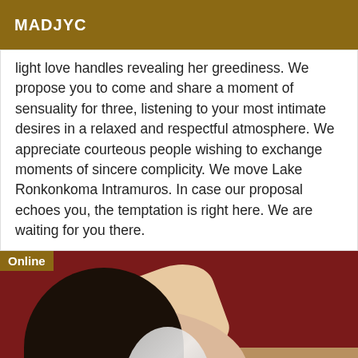MADJYC
light love handles revealing her greediness. We propose you to come and share a moment of sensuality for three, listening to your most intimate desires in a relaxed and respectful atmosphere. We appreciate courteous people wishing to exchange moments of sincere complicity. We move Lake Ronkonkoma Intramuros. In case our proposal echoes you, the temptation is right here. We are waiting for you there.
[Figure (photo): Photo of a person with dark hair, back turned, arm raised, face blurred with an oval shape. Background is dark red and tan.]